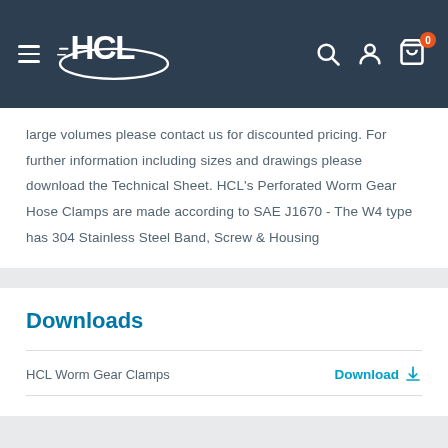[Figure (logo): HCL logo on dark navy header with hamburger menu, search, user, and cart icons]
large volumes please contact us for discounted pricing. For further information including sizes and drawings please download the Technical Sheet. HCL's Perforated Worm Gear Hose Clamps are made according to SAE J1670 - The W4 type has 304 Stainless Steel Band, Screw & Housing
Downloads
HCL Worm Gear Clamps
Download